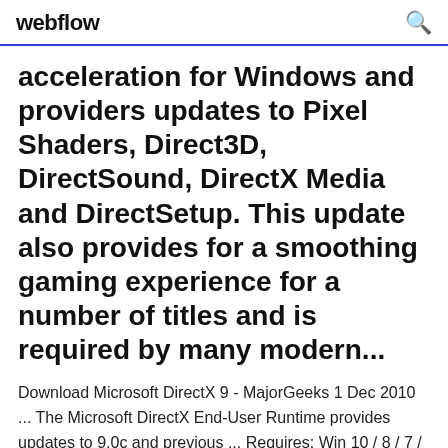webflow
acceleration for Windows and providers updates to Pixel Shaders, Direct3D, DirectSound, DirectX Media and DirectSetup. This update also provides for a smoothing gaming experience for a number of titles and is required by many modern...
Download Microsoft DirectX 9 - MajorGeeks 1 Dec 2010 ... The Microsoft DirectX End-User Runtime provides updates to 9.0c and previous ... Requires: Win 10 / 8 / 7 / Vista / XP ... For information on obtaining DirectX 11 for